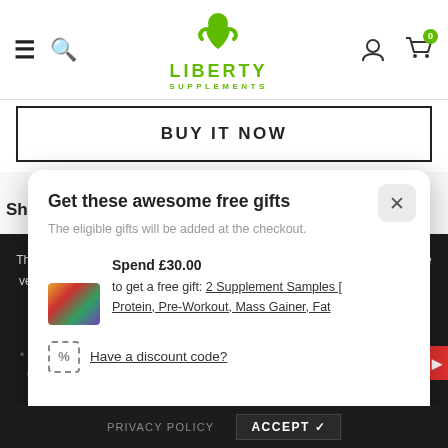Liberty Supplements – navigation bar with hamburger, search, logo, account, and cart (0)
BUY IT NOW
[Figure (screenshot): Modal popup titled 'Get these awesome free gifts' with subtitle 'The eligible gifts will be added at the checkout.' showing an offer: Spend £30.00 to get a free gift: 2 Supplement Samples [Protein, Pre-Workout, Mass Gainer, Fat ...] with a product image thumbnail, and a 'Have a discount code?' link with dashed icon]
The cookie settings on this website are set to 'allow all cookies' to give you the very best experience. Please click Accept Cookies to continue to use the site.
Increased produ... testosterone through a combination of Zinc, Magnesium and Vitamin B6
PRIVACY POLICY   ACCEPT ✓